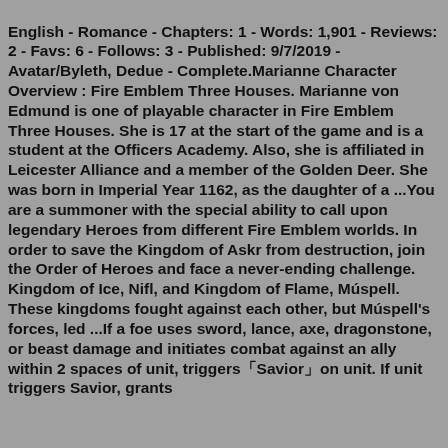English - Romance - Chapters: 1 - Words: 1,901 - Reviews: 2 - Favs: 6 - Follows: 3 - Published: 9/7/2019 - Avatar/Byleth, Dedue - Complete.Marianne Character Overview : Fire Emblem Three Houses. Marianne von Edmund is one of playable character in Fire Emblem Three Houses. She is 17 at the start of the game and is a student at the Officers Academy. Also, she is affiliated in Leicester Alliance and a member of the Golden Deer. She was born in Imperial Year 1162, as the daughter of a ...You are a summoner with the special ability to call upon legendary Heroes from different Fire Emblem worlds. In order to save the Kingdom of Askr from destruction, join the Order of Heroes and face a never-ending challenge. Kingdom of Ice, Nifl, and Kingdom of Flame, Múspell. These kingdoms fought against each other, but Múspell's forces, led ...If a foe uses sword, lance, axe, dragonstone, or beast damage and initiates combat against an ally within 2 spaces of unit, triggers「Savior」on unit. If unit triggers Savior, grants